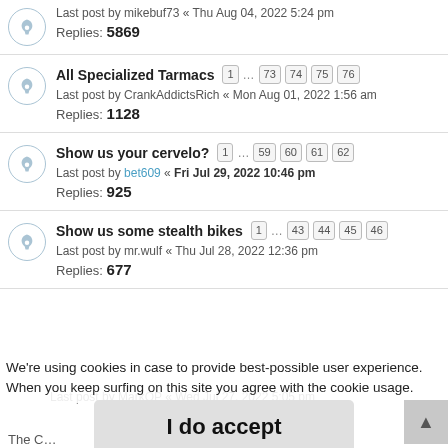Last post by mikebuf73 « Thu Aug 04, 2022 5:24 pm
Replies: 5869
All Specialized Tarmacs [1] ... [73][74][75][76]
Last post by CrankAddictsRich « Mon Aug 01, 2022 1:56 am
Replies: 1128
Show us your cervelo? [1] ... [59][60][61][62]
Last post by bet609 « Fri Jul 29, 2022 10:46 pm
Replies: 925
Show us some stealth bikes [1] ... [43][44][45][46]
Last post by mr.wulf « Thu Jul 28, 2022 12:36 pm
Replies: 677
We're using cookies in case to provide best-possible user experience. When you keep surfing on this site you agree with the cookie usage.
Last post by MarkOP « Wed Jul 27, 2022 5:05 pm
Replies: 334
I do accept
The C...